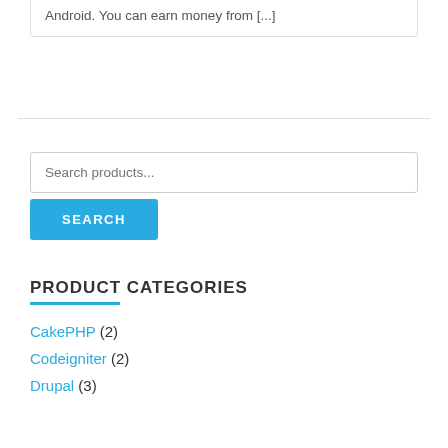Android. You can earn money from [...]
Search products...
PRODUCT CATEGORIES
CakePHP (2)
Codeigniter (2)
Drupal (3)